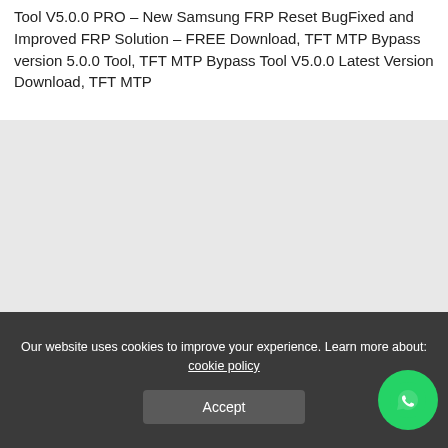Tool V5.0.0 PRO – New Samsung FRP Reset BugFixed and Improved FRP Solution – FREE Download, TFT MTP Bypass version 5.0.0 Tool, TFT MTP Bypass Tool V5.0.0 Latest Version Download, TFT MTP
[Figure (other): Gray advertisement or content placeholder block]
Our website uses cookies to improve your experience. Learn more about: cookie policy
Accept